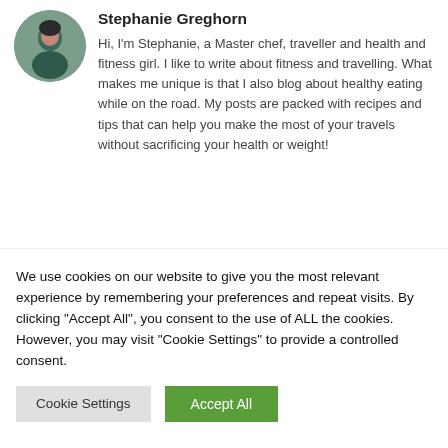Stephanie Greghorn
Hi, I'm Stephanie, a Master chef, traveller and health and fitness girl. I like to write about fitness and travelling. What makes me unique is that I also blog about healthy eating while on the road. My posts are packed with recipes and tips that can help you make the most of your travels without sacrificing your health or weight!
RELATED POSTS
BLEACH 2022:
We use cookies on our website to give you the most relevant experience by remembering your preferences and repeat visits. By clicking "Accept All", you consent to the use of ALL the cookies. However, you may visit "Cookie Settings" to provide a controlled consent.